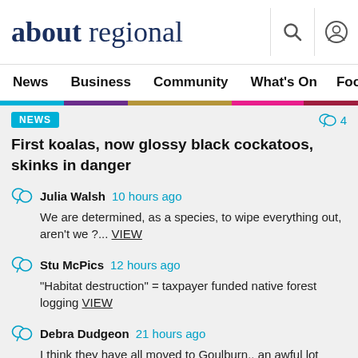about regional
News  Business  Community  What's On  Food & Wi
NEWS
First koalas, now glossy black cockatoos, skinks in danger
Julia Walsh  10 hours ago
We are determined, as a species, to wipe everything out, aren't we ?... VIEW
Stu McPics  12 hours ago
"Habitat destruction" = taxpayer funded native forest logging VIEW
Debra Dudgeon  21 hours ago
I think they have all moved to Goulburn.. an awful lot around lately VIEW